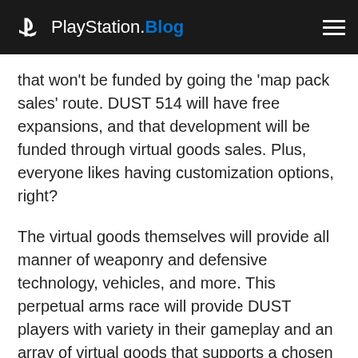PlayStation.Blog
that won't be funded by going the 'map pack sales' route. DUST 514 will have free expansions, and that development will be funded through virtual goods sales. Plus, everyone likes having customization options, right?
The virtual goods themselves will provide all manner of weaponry and defensive technology, vehicles, and more. This perpetual arms race will provide DUST players with variety in their gameplay and an array of virtual goods that supports a chosen playstyle.
“Would you like to know more?”